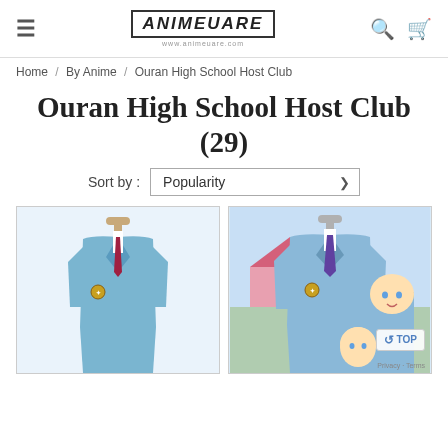AnimeUare — www.animeuare.com
Home / By Anime / Ouran High School Host Club
Ouran High School Host Club (29)
Sort by : Popularity
[Figure (photo): Cosplay costume on a mannequin — light blue school blazer with crest, maroon tie, white shirt]
[Figure (photo): Cosplay costume on mannequin with anime characters in background — light blue school blazer with crest, purple tie, white shirt; Ouran High School Host Club anime art visible]